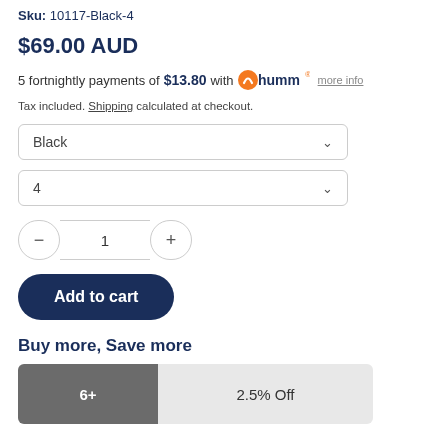Sku: 10117-Black-4
$69.00 AUD
5 fortnightly payments of $13.80 with humm more info
Tax included. Shipping calculated at checkout.
Black (dropdown)
4 (dropdown)
- 1 + (quantity selector)
Add to cart
Buy more, Save more
| Qty | Discount |
| --- | --- |
| 6+ | 2.5% Off |